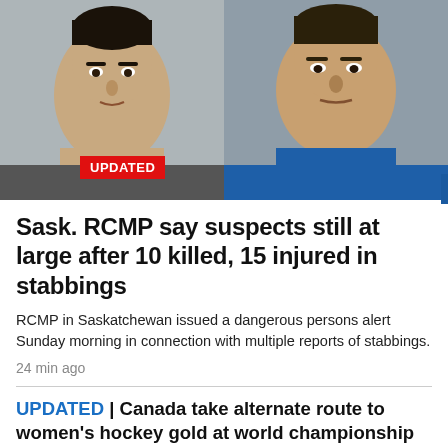[Figure (photo): Two mugshot-style photos side by side: left shows a younger male with dark hair against a light wall, right shows an older male with short dark hair wearing a blue shirt]
UPDATED
Sask. RCMP say suspects still at large after 10 killed, 15 injured in stabbings
RCMP in Saskatchewan issued a dangerous persons alert Sunday morning in connection with multiple reports of stabbings.
24 min ago
UPDATED | Canada take alternate route to women's hockey gold at world championship
18 min ago